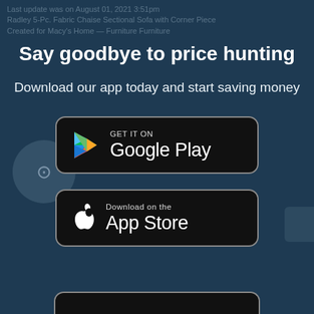Last update was on August 01, 2021 3:51pm
Radley 5-Pc. Fabric Chaise Sectional Sofa with Corner Piece
Created for Macy's Home — Furniture Furniture
Say goodbye to price hunting
Download our app today and start saving money
[Figure (screenshot): Google Play Store download button with Google Play triangle logo on black rounded rectangle]
[Figure (screenshot): Apple App Store download button with Apple logo on black rounded rectangle]